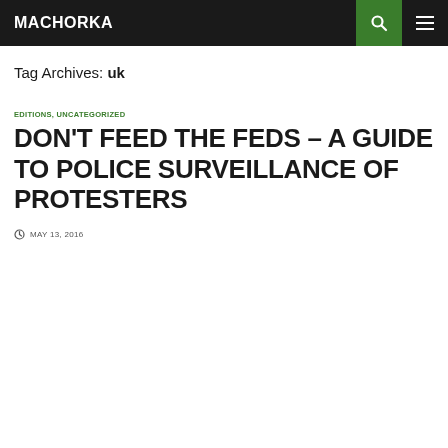MACHORKA
Tag Archives: uk
EDITIONS, UNCATEGORIZED
DON'T FEED THE FEDS – A GUIDE TO POLICE SURVEILLANCE OF PROTESTERS
MAY 13, 2016